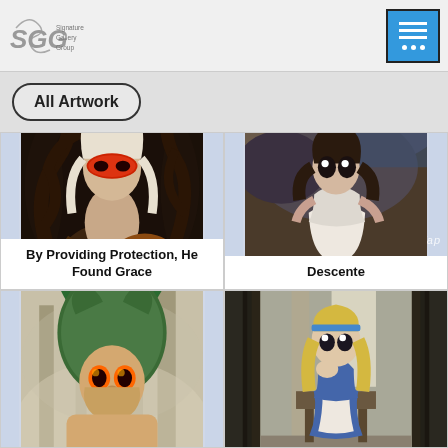SGG Signature Gallery Group
All Artwork
[Figure (illustration): Fantasy painting of a young girl with white hair and a red eye mask, crouching among dark dragon-like creatures]
By Providing Protection, He Found Grace
[Figure (illustration): Painting of a young girl in a white dress standing amid dark stormy clouds]
Descente
[Figure (illustration): Fantasy painting of a woman with green dragon-like hair and orange eyes]
[Figure (illustration): Painting of a girl in a blue dress sitting at a table in a dark ornate frame]